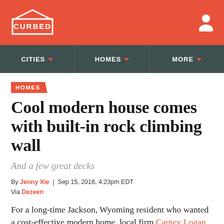CURBED
CITIES | HOMES | MORE
HOMES
Cool modern house comes with built-in rock climbing wall
And a few great decks
By Jenny Xie | Sep 15, 2016, 4:23pm EDT
Via Dezeen
For a long-time Jackson, Wyoming resident who wanted a cost-effective modern home, local firm Carney Logan